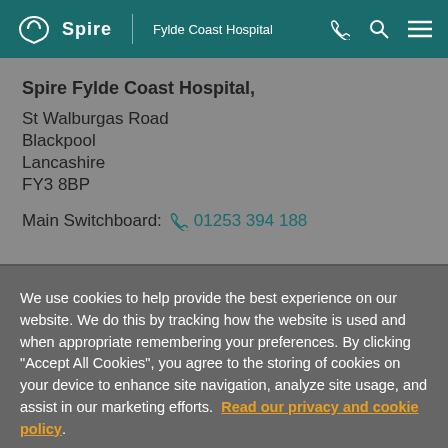Spire | Fylde Coast Hospital
Spire Fylde Coast Hospital,
St Walburgas Road
Blackpool
Lancashire
FY3 8BP
Main Switchboard: 01253 394 188
We use cookies to help provide the best experience on our website. We do this by tracking how the website is used and when appropriate remembering your preferences. By clicking "Accept All Cookies", you agree to the storing of cookies on your device to enhance site navigation, analyze site usage, and assist in our marketing efforts. Read our privacy and cookie policy
Cookies Settings
Accept All Cookies